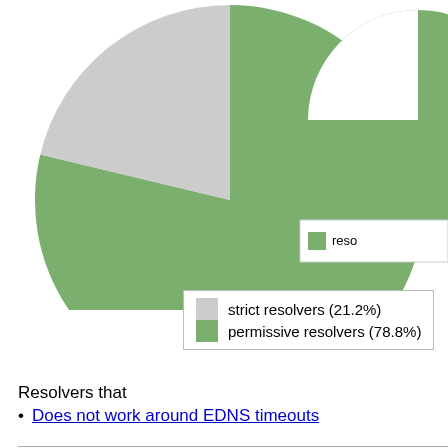[Figure (pie-chart): Resolvers breakdown]
Resolvers that
Does not work around EDNS timeouts
IPv4 Route origin Validation